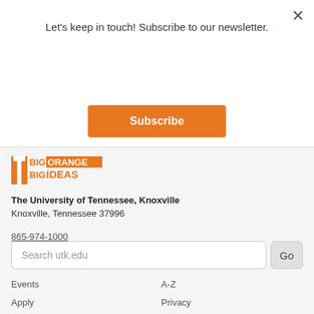Let's keep in touch! Subscribe to our newsletter.
Subscribe
[Figure (logo): University of Tennessee Big Orange Big Ideas logo — orange T logo with BIG ORANGE BIG IDEAS text]
The University of Tennessee, Knoxville
Knoxville, Tennessee 37996
865-974-1000
Search utk.edu
Events
Apply
Map
Give to UT
A-Z
Privacy
Directory
Accessibility